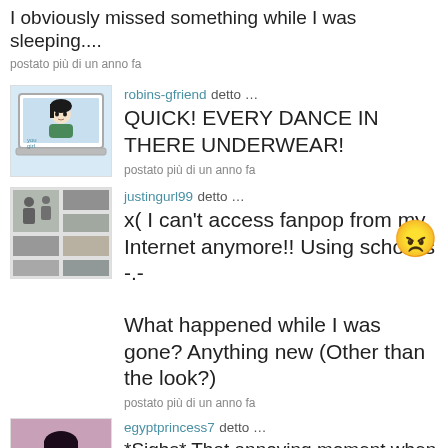I obviously missed something while I was sleeping....
postato più di un anno fa
robins-gfriend detto …
QUICK! EVERY DANCE IN THERE UNDERWEAR!
postato più di un anno fa
justingurl99 detto …
x( I can't access fanpop from my Internet anymore!! Using school's
-.-

What happened while I was gone? Anything new (Other than the look?)

postato più di un anno fa
egyptprincess7 detto …
*Sighs* That annoying moment,when someone who clearly knows that te DON'T want to talk, often trys to keep a...